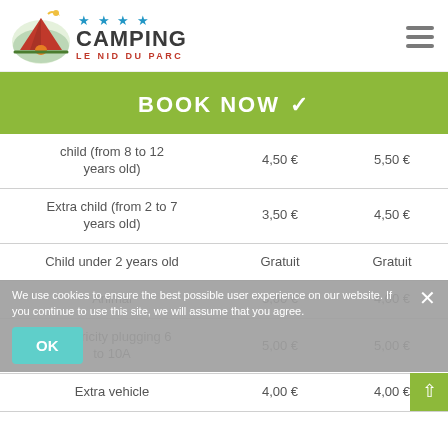[Figure (logo): Camping Le Nid du Parc logo with tent illustration and 4 stars]
BOOK NOW
|  |  |  |
| --- | --- | --- |
| child (from 8 to 12 years old) | 4,50 € | 5,50 € |
| Extra child (from 2 to 7 years old) | 3,50 € | 4,50 € |
| Child under 2 years old | Gratuit | Gratuit |
| Animal | 3,00 € | 4,00 € |
| Electricity plugging 6 to 10A | 5,00 € | 5,00 € |
| Extra vehicle | 4,00 € | 4,00 € |
We use cookies to ensure the best possible user experience on our website. If you continue to use this site, we will assume that you agree.